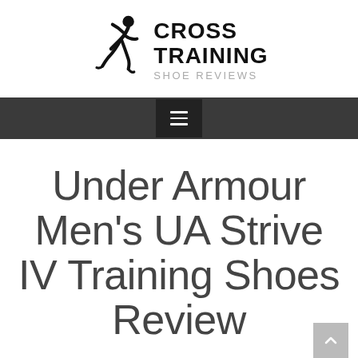[Figure (logo): Cross Training Shoe Reviews logo with a running athlete silhouette and bold text reading CROSS TRAINING SHOE REVIEWS]
Navigation bar with hamburger menu icon
Under Armour Men's UA Strive IV Training Shoes Review